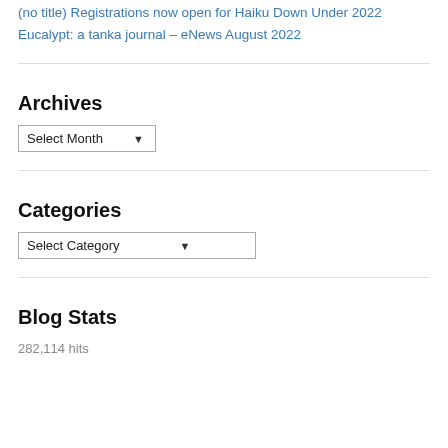(no title)
Registrations now open for Haiku Down Under 2022
Eucalypt: a tanka journal – eNews August 2022
Archives
Select Month
Categories
Select Category
Blog Stats
282,114 hits